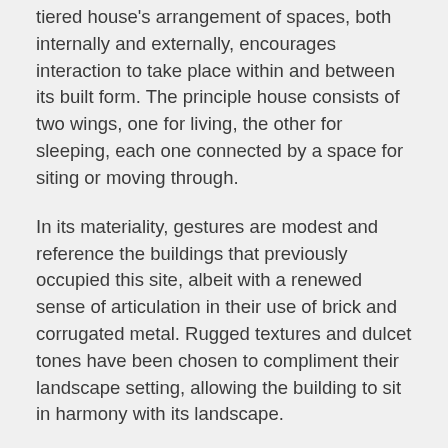tiered house's arrangement of spaces, both internally and externally, encourages interaction to take place within and between its built form. The principle house consists of two wings, one for living, the other for sleeping, each one connected by a space for siting or moving through.
In its materiality, gestures are modest and reference the buildings that previously occupied this site, albeit with a renewed sense of articulation in their use of brick and corrugated metal. Rugged textures and dulcet tones have been chosen to compliment their landscape setting, allowing the building to sit in harmony with its landscape.
Externally a series of courtyards, one large (and on show), the other small (and more intimate), create spaces to gather or pause, which when combined with more wild gardens on the outer periphery, allow for a